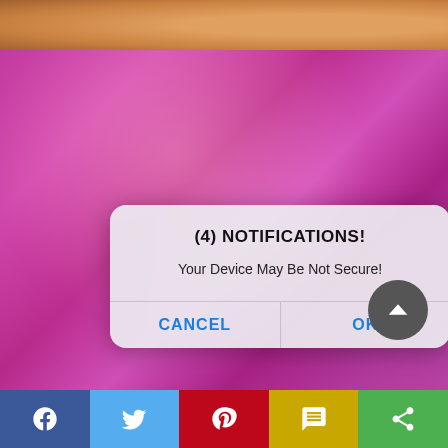[Figure (screenshot): Top strip showing partial image of fabric/skin tones]
[Figure (screenshot): Background photo of a person in a pink/purple lit environment with a fake iOS-style notification dialog overlay reading '(4) NOTIFICATIONS! Your Device May Be Not Secure!' with CANCEL and OK buttons, and an upward arrow button in the bottom right]
[Figure (screenshot): Bottom social sharing bar with Facebook, Twitter, Pinterest, SMS, and Share buttons]